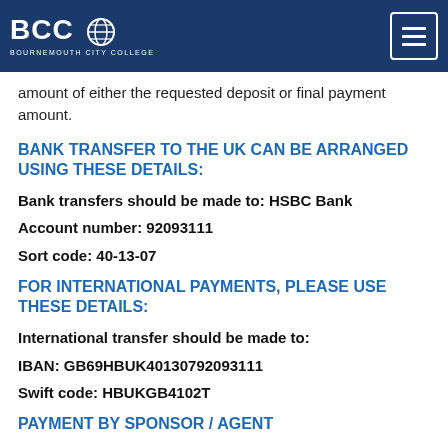BCC BOURNEMOUTH CITY COLLEGE
amount of either the requested deposit or final payment amount.
BANK TRANSFER TO THE UK CAN BE ARRANGED USING THESE DETAILS:
Bank transfers should be made to: HSBC Bank
Account number: 92093111
Sort code: 40-13-07
FOR INTERNATIONAL PAYMENTS, PLEASE USE THESE DETAILS:
International transfer should be made to:
IBAN: GB69HBUK40130792093111
Swift code: HBUKGB4102T
PAYMENT BY SPONSOR / AGENT
Students sponsored by a third party will have to provide